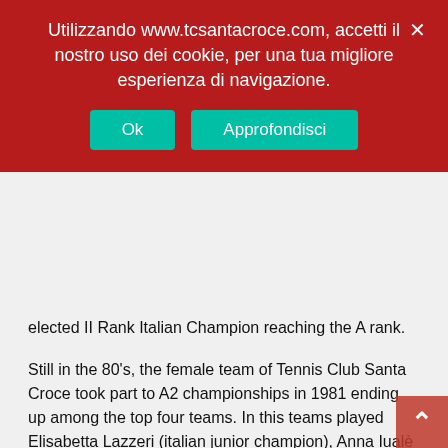Utilizzando www.tcsantacroce.com, accetti il nostro uso dei cookie, per una tua migliore esperienza di navigazione.
Ok   Approfondisci
elected II Rank Italian Champion reaching the A rank.
Still in the 80's, the female team of Tennis Club Santa Croce took part to A2 championships in 1981 ending up among the top four teams. In this teams played Elisabetta Lazzeri (italian junior champion), Anna Iualè (italian champion in 1982), Cristiana Marcucci and Silvia Marchetti.
One more excellent athlete out of Santa Croce tennis school is Ettore Rossetti, in the first spots of B rankings in the 90's, up to gaining the 240th position in ATP rankings. The 90's were also the years of the consecration of Matteo Catarsi from Pontedera and Elisa Balsamo from Staffoli in the italian panorama.